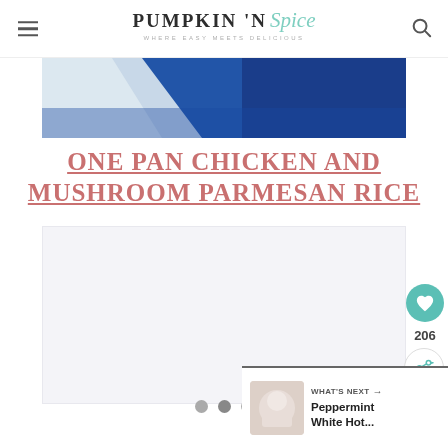PUMPKIN 'N Spice — WHERE EASY MEETS DELICIOUS
[Figure (photo): Top portion of a food photo showing blue denim/fabric background]
ONE PAN CHICKEN AND MUSHROOM PARMESAN RICE
[Figure (photo): Main recipe photo area (mostly white/loading), with carousel dots showing 3 slides]
206
WHAT'S NEXT → Peppermint White Hot...